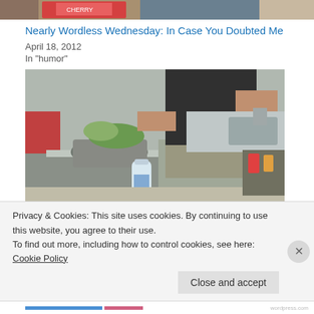[Figure (photo): Partial top image showing colorful fabric or clothing, cropped at top of page]
Nearly Wordless Wednesday: In Case You Doubted Me
April 18, 2012
In "humor"
[Figure (photo): A person in a black t-shirt and khaki shorts standing at a stainless steel kitchen counter, working with vegetables in a blender. A water bottle is visible in the foreground. Kitchen shelves and a sink are visible in the background.]
Privacy & Cookies: This site uses cookies. By continuing to use this website, you agree to their use.
To find out more, including how to control cookies, see here: Cookie Policy